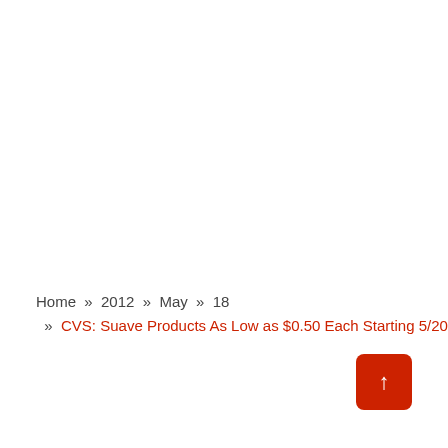Home » 2012 » May » 18 » CVS: Suave Products As Low as $0.50 Each Starting 5/20